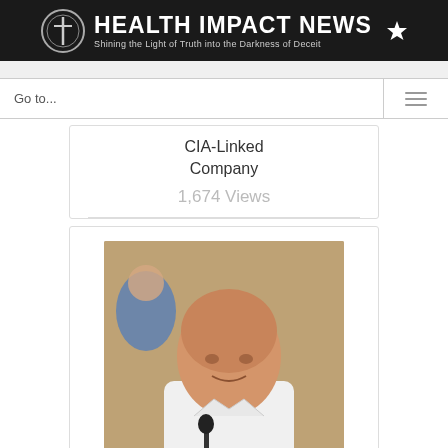HEALTH IMPACT NEWS - Shining the Light of Truth into the Darkness of Deceit
Go to...
CIA-Linked Company
1,674 Views
[Figure (photo): A bald middle-aged man in a white polo shirt sitting at a desk with a microphone, other people visible behind him]
Top Israeli Scientist: “Monkeypox Outbreak is Linked to mRNA Vaccines” - Twitter Censors Tweet